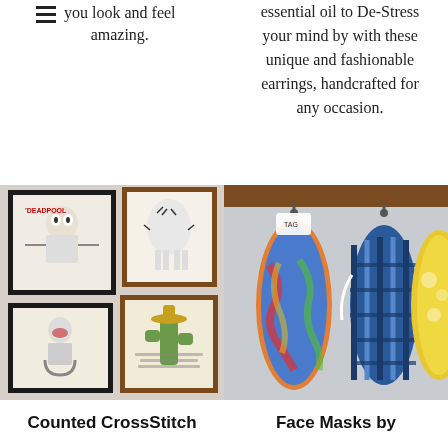you look and feel amazing.
essential oil to De-Stress your mind by with these unique and fashionable earrings, handcrafted for any occasion.
[Figure (photo): Cross stitch artwork pieces displayed in frames on a wall, including Deadpool, a zebra, Jessie from Toy Story, and a cactus character.]
[Figure (photo): Colorful and patterned face masks hanging from hooks on a wooden rail.]
Counted CrossStitch
Face Masks by